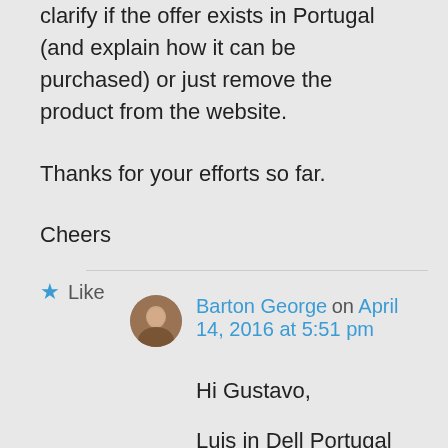clarify if the offer exists in Portugal (and explain how it can be purchased) or just remove the product from the website.
Thanks for your efforts so far.
Cheers
★ Like
Barton George on April 14, 2016 at 5:51 pm
Hi Gustavo,
Luis in Dell Portugal said he can help you out directly. For an email